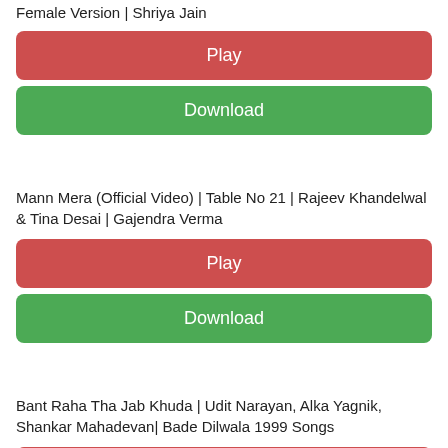Female Version | Shriya Jain
Play
Download
Mann Mera (Official Video) | Table No 21 | Rajeev Khandelwal & Tina Desai | Gajendra Verma
Play
Download
Bant Raha Tha Jab Khuda | Udit Narayan, Alka Yagnik, Shankar Mahadevan| Bade Dilwala 1999 Songs
Play